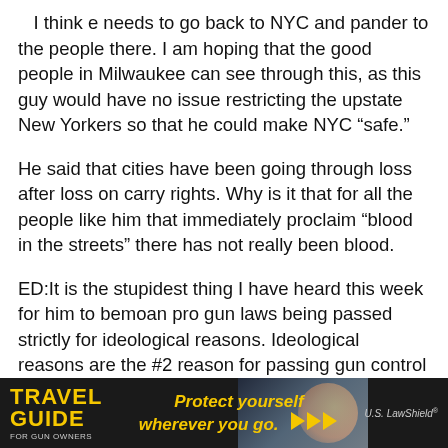I think e needs to go back to NYC and pander to the people there. I am hoping that the good people in Milwaukee can see through this, as this guy would have no issue restricting the upstate New Yorkers so that he could make NYC “safe.”
He said that cities have been going through loss after loss on carry rights. Why is it that for all the people like him that immediately proclaim “blood in the streets” there has not really been blood.
ED:It is the stupidest thing I have heard this week for him to bemoan pro gun laws being passed strictly for ideological reasons. Ideological reasons are the #2 reason for passing gun control laws in most cases besides harassing law abiding gun owners.
[Figure (infographic): Travel Guide for Gun Owners advertisement banner with dark background, yellow 'TRAVEL GUIDE FOR GUN OWNERS' text on left, 'Protect yourself wherever you go.' tagline with orange arrow icons in center, and U.S. LawShield logo on right]